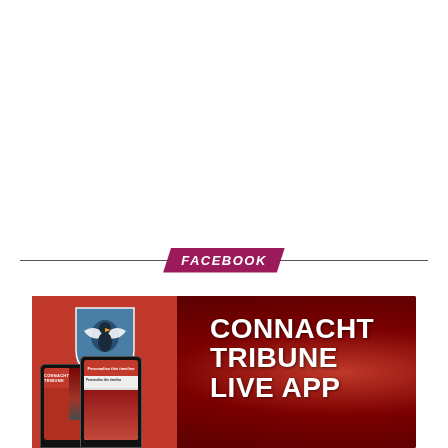[Figure (other): FACEBOOK section divider with pink/magenta parallelogram badge containing italic bold text 'FACEBOOK' in white, centered on a horizontal rule line]
[Figure (infographic): Connacht Tribune Live App advertisement banner. Dark red textured background with Connacht Tribune shield logo (eagle on blue/teal shield), two smartphones showing the app, and bold white text reading 'CONNACHT TRIBUNE LIVE APP']